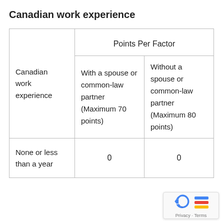Canadian work experience
| Canadian work experience | With a spouse or common-law partner (Maximum 70 points) | Without a spouse or common-law partner (Maximum 80 points) |
| --- | --- | --- |
| None or less than a year | 0 | 0 |